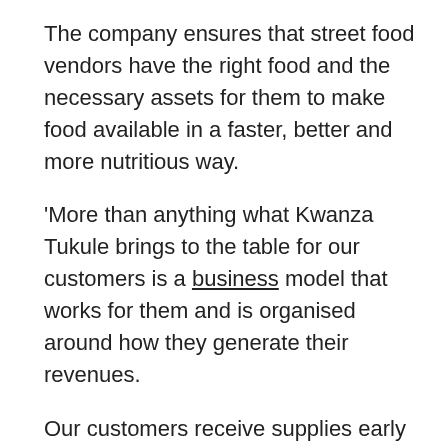The company ensures that street food vendors have the right food and the necessary assets for them to make food available in a faster, better and more nutritious way.
‘More than anything what Kwanza Tukule brings to the table for our customers is a business model that works for them and is organised around how they generate their revenues.
Our customers receive supplies early morning on a daily basis and pay at the end of the day.’ Khadija added.
Research indicates that street foods contribute significantly to local diets, especially among the urban poor, since they are convenient, cheap and